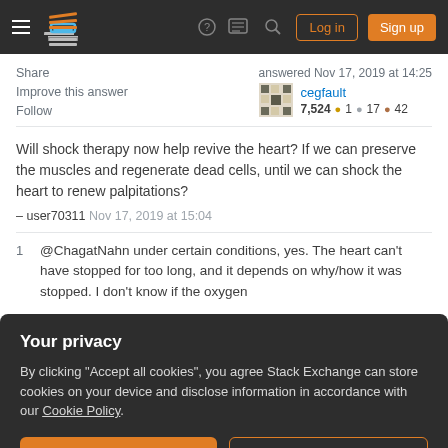Stack Exchange navigation bar with Log in and Sign up buttons
Share
Improve this answer
Follow
answered Nov 17, 2019 at 14:25
cegfault
7,524 ●1 ●17 ●42
Will shock therapy now help revive the heart? If we can preserve the muscles and regenerate dead cells, until we can shock the heart to renew palpitations?
– user70311 Nov 17, 2019 at 15:04
1   @ChagatNahn under certain conditions, yes. The heart can't have stopped for too long, and it depends on why/how it was stopped. I don't know if the oxygen
Your privacy
By clicking "Accept all cookies", you agree Stack Exchange can store cookies on your device and disclose information in accordance with our Cookie Policy.
Accept all cookies
Customize settings
You must log in to answer this question.